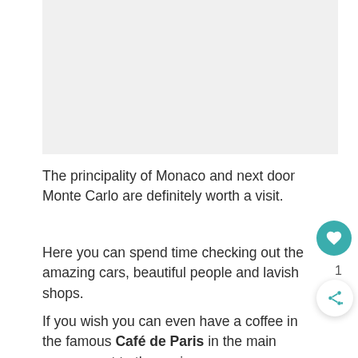[Figure (photo): Light gray placeholder image area at top of page]
The principality of Monaco and next door Monte Carlo are definitely worth a visit.
Here you can spend time checking out the amazing cars, beautiful people and lavish shops.
If you wish you can even have a coffee in the famous Café de Paris in the main square next to the casino.